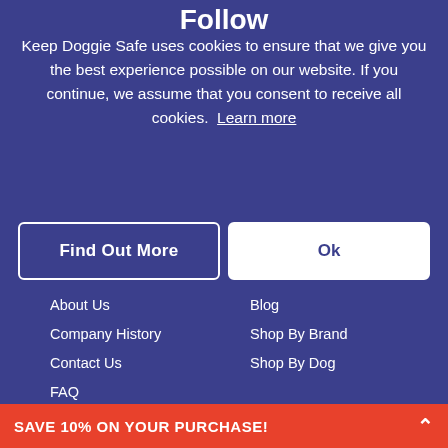Follow
Keep Doggie Safe uses cookies to ensure that we give you the best experience possible on our website. If you continue, we assume that you consent to receive all cookies. Learn more
Find Out More
Ok
About Us
Blog
Company History
Shop By Brand
Contact Us
Shop By Dog
FAQ
Returns & Exchanges
Privacy & Security
Terms Of Service
Cookies Policy
SAVE 10% ON YOUR PURCHASE!